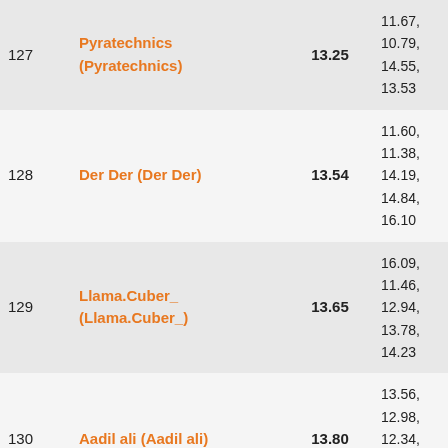| # | Name | Score | Details | Notes |
| --- | --- | --- | --- | --- |
| 127 | Pyratechnics (Pyratechnics) | 13.25 | 11.67,
10.79,
14.55,
13.53 |  |
| 128 | Der Der (Der Der) | 13.54 | 11.60,
11.38,
14.19,
14.84,
16.10 |  |
| 129 | Llama.Cuber_
(Llama.Cuber_) | 13.65 | 16.09,
11.46,
12.94,
13.78,
14.23 |  |
| 130 | Aadil ali (Aadil ali) | 13.80 | 13.56,
12.98,
12.34,
14.87,
15.80 |  |
| 131 |  |  | 15.32,
13.24, | Fumbled d
basically |